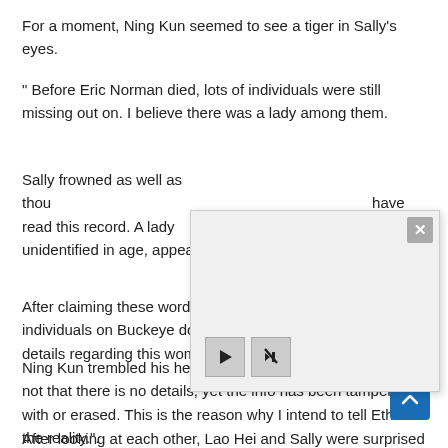For a moment, Ning Kun seemed to see a tiger in Sally’s eyes.
“ Before Eric Norman died, lots of individuals were still missing out on. I believe there was a lady among them.
Sally frowned as well as thou… have read this record. A lady… unidentified in age, appearan…
[Figure (screenshot): A modal/popup dialog overlay with a light gray background, an X close button in the top-right corner, and two control buttons (play and mute) at the bottom left.]
After claiming these words, S… individuals on Buckeye do. I don’t appear to have any type of details regarding this woman.”.
Ning Kun trembled his head as well as said solemnly, “It’s not that there is no details, yet the info has been tampered with or erased. This is the reason why I intend to tell Ethan the reality.”.
After looking at each other, Lao Hei and Sally were surprised in